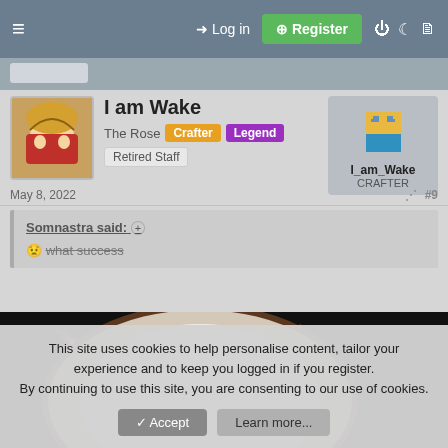Log in | Register
I am Wake – The Rose | Crafter | Legend | Retired Staff
May 8, 2022  #9
Somnastra said: ⊕
😟 what success (strikethrough)
[Figure (illustration): Anime-style drawing of a cat or bunny character from above showing ears and head on black background]
This site uses cookies to help personalise content, tailor your experience and to keep you logged in if you register.
By continuing to use this site, you are consenting to our use of cookies.
[Accept] [Learn more...]